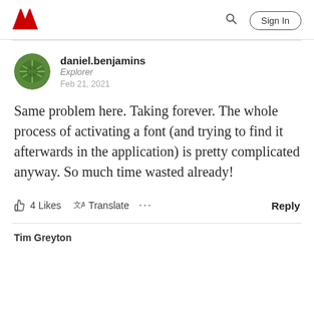Adobe | Sign In
daniel.benjamins
Explorer
Feb 21, 2021
Same problem here. Taking forever. The whole process of activating a font (and trying to find it afterwards in the application) is pretty complicated anyway. So much time wasted already!
4 Likes   Translate   ...   Reply
Tim Greyton